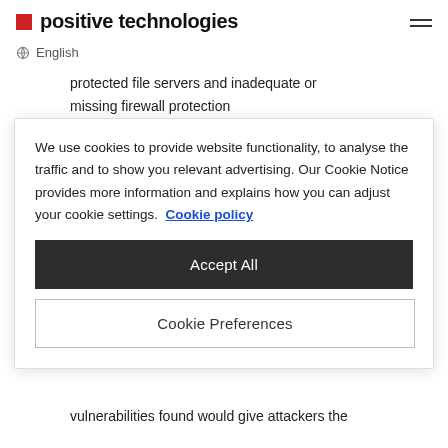positive technologies
English
protected file servers and inadequate or missing firewall protection
Review of password usage, including analysis
We use cookies to provide website functionality, to analyse the traffic and to show you relevant advertising. Our Cookie Notice provides more information and explains how you can adjust your cookie settings. Cookie policy
Accept All
Cookie Preferences
vulnerabilities found would give attackers the